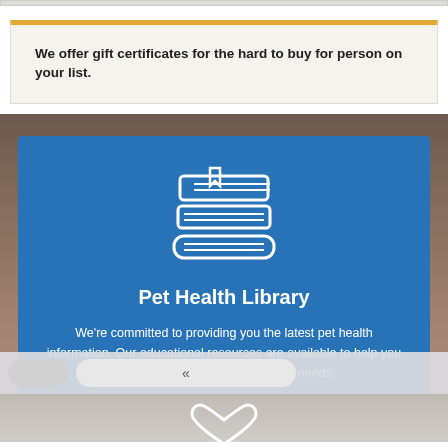We offer gift certificates for the hard to buy for person on your list.
[Figure (illustration): Stack of books icon with bookmark ribbon, rendered as white line art on blue background]
Pet Health Library
We're committed to providing you the latest pet health information. Our educational resources are available to help you understand your pet's healthcare needs.